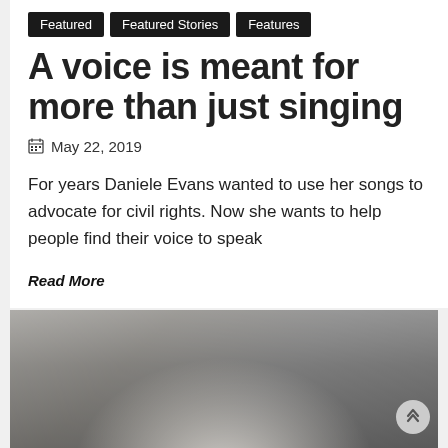Featured | Featured Stories | Features
A voice is meant for more than just singing
May 22, 2019
For years Daniele Evans wanted to use her songs to advocate for civil rights. Now she wants to help people find their voice to speak
Read More
[Figure (photo): Photo of people in what appears to be an office or classroom setting with computers and whiteboards visible in the background]